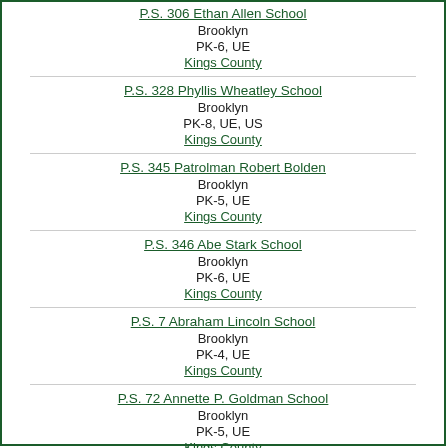P.S. 306 Ethan Allen School
Brooklyn
PK-6, UE
Kings County
P.S. 328 Phyllis Wheatley School
Brooklyn
PK-8, UE, US
Kings County
P.S. 345 Patrolman Robert Bolden
Brooklyn
PK-5, UE
Kings County
P.S. 346 Abe Stark School
Brooklyn
PK-6, UE
Kings County
P.S. 7 Abraham Lincoln School
Brooklyn
PK-4, UE
Kings County
P.S. 72 Annette P. Goldman School
Brooklyn
PK-5, UE
Kings County